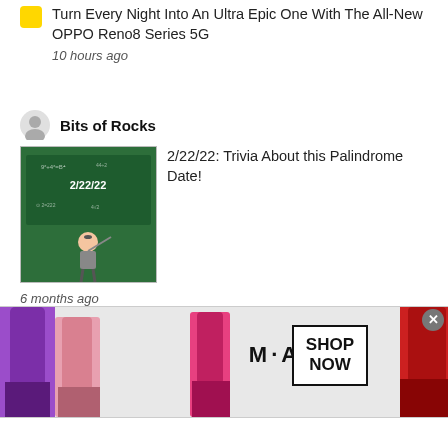Turn Every Night Into An Ultra Epic One With The All-New OPPO Reno8 Series 5G
10 hours ago
Bits of Rocks
[Figure (illustration): Thumbnail image of a cartoon teacher at a chalkboard with '2/22/22' written on it]
2/22/22: Trivia About this Palindrome Date!
6 months ago
Home
Contact Us
Our Social Media
Our Blog Network
[Figure (photo): M·A·C cosmetics advertisement showing lipsticks with Shop Now button]